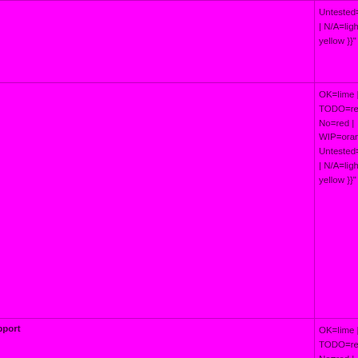| Feature | Status |
| --- | --- |
|  | Untested=yellow | N/A=lightgray yellow }}" | N/A= |
| DDR3 | OK=lime | TODO=red | No=red | WIP=orange Untested=yellow | N/A=lightgray yellow }}" | N/A= |
| Dual channel support | OK=lime | TODO=red | No=red | WIP=orange Untested=yellow | N/A=lightgray yellow }}" | N/A= |
| ECC support | OK=lime | TODO=red | No=red | WIP=orange Untested=yellow | N/A=lightgray yellow }}" | N/A= |